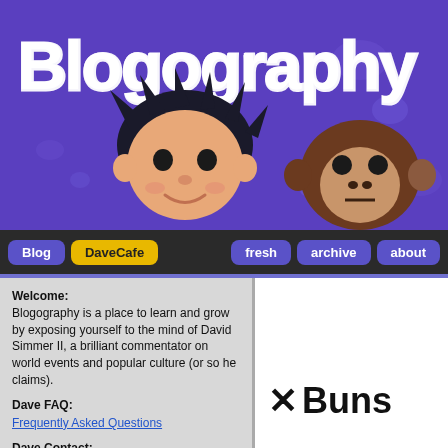[Figure (illustration): Blogography website banner with purple background, large white graffiti-style 'Blogography' text, cartoon character faces (a person and a monkey), and small circular blob decorations. Copyright 2008 BLOGOGRAPHY.COM text on the left side.]
Blog | DaveCafe | fresh | archive | about
Welcome:
Blogography is a place to learn and grow by exposing yourself to the mind of David Simmer II, a brilliant commentator on world events and popular culture (or so he claims).
Dave FAQ:
Frequently Asked Questions
Dave Contact:
dave@blogography.com
✕ Buns